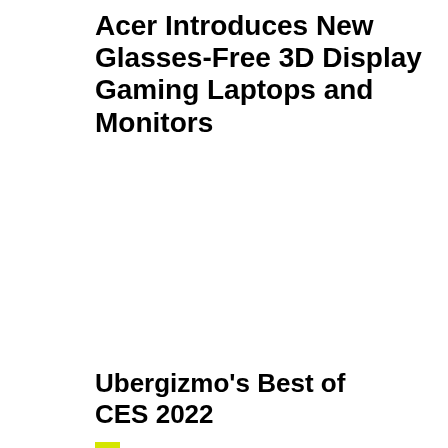Acer Introduces New Glasses-Free 3D Display Gaming Laptops and Monitors
Ubergizmo's Best of CES 2022